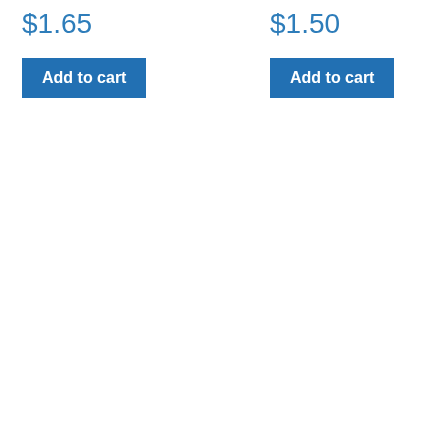$1.65
Add to cart
$1.50
Add to cart